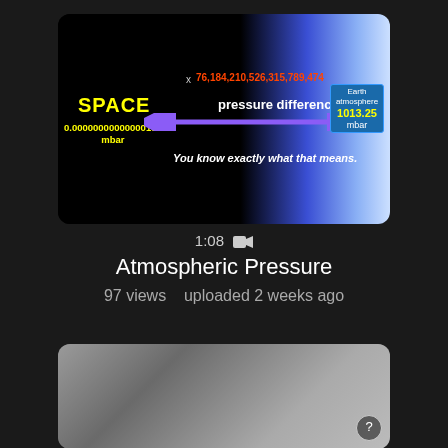[Figure (screenshot): Video thumbnail showing atmospheric pressure infographic: SPACE (0.00000000000000133 mbar) on left vs Earth atmosphere (1013.25 mbar) on right, with pressure difference arrow and multiplier x 76,184,210,526,315,789,474 and text 'You know exactly what that means.']
1:08 🎥
Atmospheric Pressure
97 views   uploaded 2 weeks ago
[Figure (screenshot): Second video thumbnail showing a person in an indoor setting with equipment visible.]